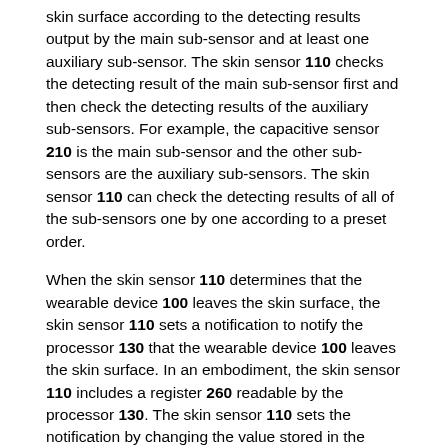skin surface according to the detecting results output by the main sub-sensor and at least one auxiliary sub-sensor. The skin sensor 110 checks the detecting result of the main sub-sensor first and then check the detecting results of the auxiliary sub-sensors. For example, the capacitive sensor 210 is the main sub-sensor and the other sub-sensors are the auxiliary sub-sensors. The skin sensor 110 can check the detecting results of all of the sub-sensors one by one according to a preset order.
When the skin sensor 110 determines that the wearable device 100 leaves the skin surface, the skin sensor 110 sets a notification to notify the processor 130 that the wearable device 100 leaves the skin surface. In an embodiment, the skin sensor 110 includes a register 260 readable by the processor 130. The skin sensor 110 sets the notification by changing the value stored in the register 260 from a first value to a second value. The processor 130 can keep reading the value stored in the register 260 to know whether the wearable device 100 leaves the skin surface of the user. When the value read from the register 260 is the first value, that means the wearable device 100 does not leave the skin surface of the user. When the